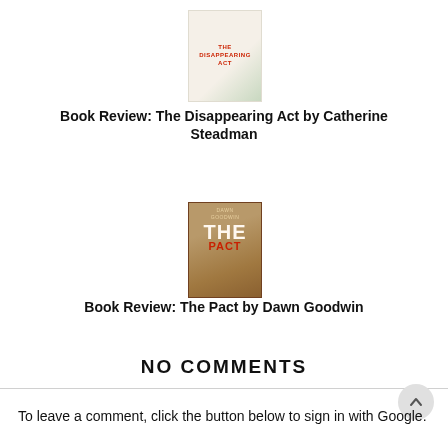[Figure (illustration): Book cover of The Disappearing Act by Catherine Steadman — light beige/mint gradient cover with red text reading THE DISAPPEARING ACT]
Book Review: The Disappearing Act by Catherine Steadman
[Figure (illustration): Book cover of The Pact by Dawn Goodwin — warm brown/tan cover with white and red text reading DAWN GOODWIN THE PACT]
Book Review: The Pact by Dawn Goodwin
NO COMMENTS
To leave a comment, click the button below to sign in with Google.